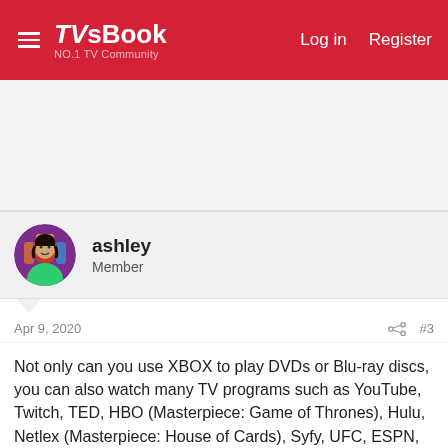TVsBook NO.1 TV Community  Log in  Register
[Figure (other): Advertisement banner area (gray background)]
ashley
Member
Apr 9, 2020  #3
Not only can you use XBOX to play DVDs or Blu-ray discs, you can also watch many TV programs such as YouTube, Twitch, TED, HBO (Masterpiece: Game of Thrones), Hulu, Netlex (Masterpiece: House of Cards), Syfy, UFC, ESPN, etc. Although you can't see all of this in the country, you can enjoy a better know-all and free Premier League!